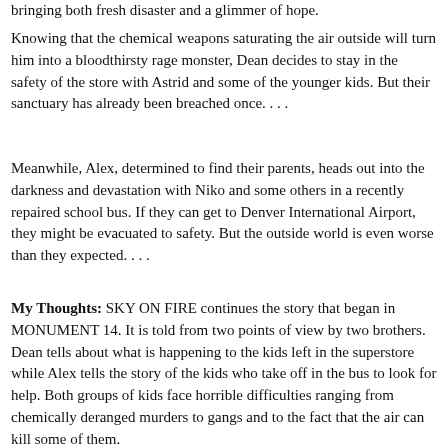bringing both fresh disaster and a glimmer of hope.
Knowing that the chemical weapons saturating the air outside will turn him into a bloodthirsty rage monster, Dean decides to stay in the safety of the store with Astrid and some of the younger kids. But their sanctuary has already been breached once. . . .
Meanwhile, Alex, determined to find their parents, heads out into the darkness and devastation with Niko and some others in a recently repaired school bus. If they can get to Denver International Airport, they might be evacuated to safety. But the outside world is even worse than they expected. . . .
My Thoughts: SKY ON FIRE continues the story that began in MONUMENT 14. It is told from two points of view by two brothers. Dean tells about what is happening to the kids left in the superstore while Alex tells the story of the kids who take off in the bus to look for help. Both groups of kids face horrible difficulties ranging from chemically deranged murders to gangs and to the fact that the air can kill some of them.